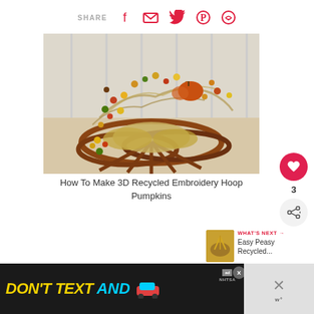SHARE [facebook] [email] [twitter] [pinterest] [whatsapp]
[Figure (photo): A decorative fall wreath made from embroidery hoops with dried berries in orange, yellow, red and green, dried grass/hay, a burlap bow, and small pumpkins arranged on top, displayed on a white wooden surface.]
How To Make 3D Recycled Embroidery Hoop Pumpkins
[Figure (infographic): Right-side engagement panel: heart/like button (pink circle with heart icon) above the number 3, and a share button below.]
WHAT'S NEXT → Easy Peasy Recycled...
[Figure (photo): Thumbnail image for 'Easy Peasy Recycled...' showing fall/autumn craft materials.]
[Figure (infographic): Advertisement banner: DON'T TEXT AND [car emoji] with NHTSA logo and close button. Ad dismissal panel with X button.]